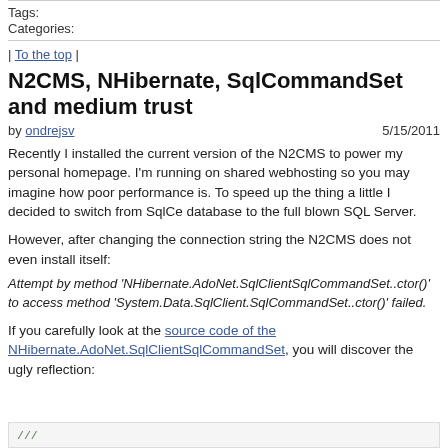Tags:
Categories:
| To the top |
N2CMS, NHibernate, SqlCommandSet and medium trust
by ondrejsv   5/15/2011
Recently I installed the current version of the N2CMS to power my personal homepage. I'm running on shared webhosting so you may imagine how poor performance is. To speed up the thing a little I decided to switch from SqlCe database to the full blown SQL Server.
However, after changing the connection string the N2CMS does not even install itself:
Attempt by method 'NHibernate.AdoNet.SqlClientSqlCommandSet..ctor()' to access method 'System.Data.SqlClient.SqlCommandSet..ctor()' failed.
If you carefully look at the source code of the NHibernate.AdoNet.SqlClientSqlCommandSet, you will discover the ugly reflection:
[Figure (screenshot): Code block with comment lines starting with ///]